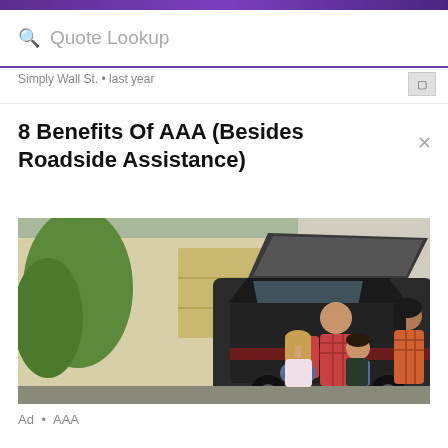Quote Lookup
Simply Wall St. • last year
8 Benefits Of AAA (Besides Roadside Assistance)
[Figure (photo): A smiling family — father, mother, and two children — loading luggage into the trunk of an SUV in a driveway in front of a house with green trees.]
Ad • AAA